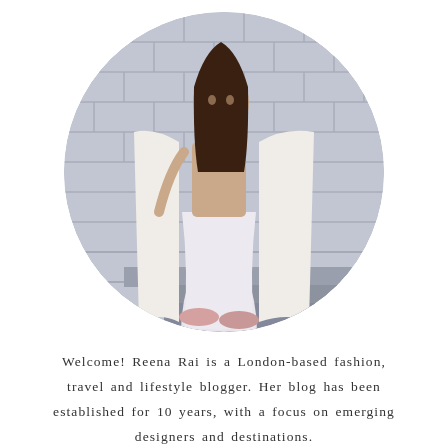[Figure (photo): Circular cropped photo of a woman (Reena Rai) standing on steps in front of a stone-tiled wall. She is wearing a beige/nude bodysuit, a white long coat draped over her shoulders, a light pink/white midi skirt, and fluffy pink slippers. She has long dark hair.]
Welcome! Reena Rai is a London-based fashion, travel and lifestyle blogger. Her blog has been established for 10 years, with a focus on emerging designers and destinations.